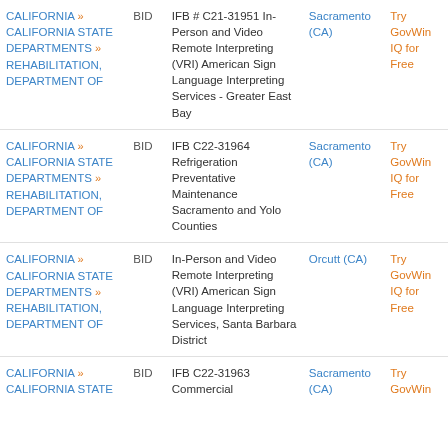| Agency | Type | Title | Location | Action |
| --- | --- | --- | --- | --- |
| CALIFORNIA » CALIFORNIA STATE DEPARTMENTS » REHABILITATION, DEPARTMENT OF | BID | IFB # C21-31951 In-Person and Video Remote Interpreting (VRI) American Sign Language Interpreting Services - Greater East Bay | Sacramento (CA) | Try GovWin IQ for Free |
| CALIFORNIA » CALIFORNIA STATE DEPARTMENTS » REHABILITATION, DEPARTMENT OF | BID | IFB C22-31964 Refrigeration Preventative Maintenance Sacramento and Yolo Counties | Sacramento (CA) | Try GovWin IQ for Free |
| CALIFORNIA » CALIFORNIA STATE DEPARTMENTS » REHABILITATION, DEPARTMENT OF | BID | In-Person and Video Remote Interpreting (VRI) American Sign Language Interpreting Services, Santa Barbara District | Orcutt (CA) | Try GovWin IQ for Free |
| CALIFORNIA » CALIFORNIA STATE DEPARTMENTS » REHABILITATION, DEPARTMENT OF | BID | IFB C22-31963 Commercial... | Sacramento (CA) | Try GovWin IQ for Free |